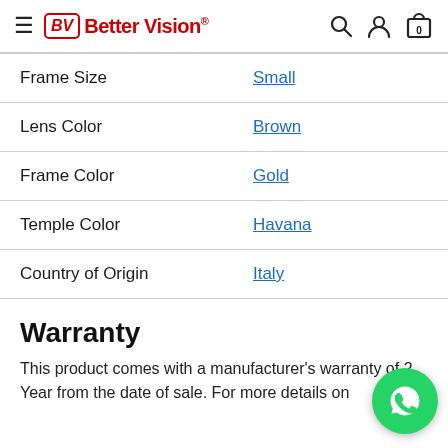Better Vision® (navigation header with search, user, and cart icons)
| Attribute | Value |
| --- | --- |
| Frame Size | Small |
| Lens Color | Brown |
| Frame Color | Gold |
| Temple Color | Havana |
| Country of Origin | Italy |
Warranty
This product comes with a manufacturer's warranty of 2 Year from the date of sale. For more details on
[Figure (illustration): Green WhatsApp floating action button with phone handset icon]